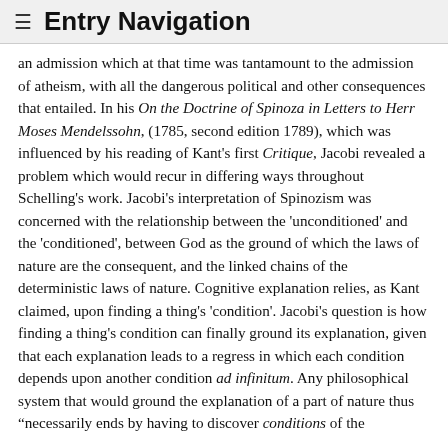≡ Entry Navigation
an admission which at that time was tantamount to the admission of atheism, with all the dangerous political and other consequences that entailed. In his On the Doctrine of Spinoza in Letters to Herr Moses Mendelssohn, (1785, second edition 1789), which was influenced by his reading of Kant's first Critique, Jacobi revealed a problem which would recur in differing ways throughout Schelling's work. Jacobi's interpretation of Spinozism was concerned with the relationship between the 'unconditioned' and the 'conditioned', between God as the ground of which the laws of nature are the consequent, and the linked chains of the deterministic laws of nature. Cognitive explanation relies, as Kant claimed, upon finding a thing's 'condition'. Jacobi's question is how finding a thing's condition can finally ground its explanation, given that each explanation leads to a regress in which each condition depends upon another condition ad infinitum. Any philosophical system that would ground the explanation of a part of nature thus "necessarily ends by having to discover conditions of the